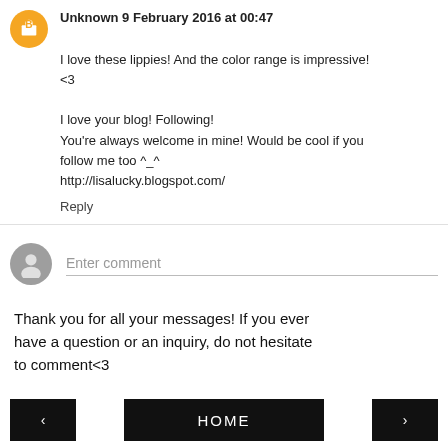Unknown 9 February 2016 at 00:47
I love these lippies! And the color range is impressive! <3

I love your blog! Following!
You're always welcome in mine! Would be cool if you follow me too ^_^
http://lisalucky.blogspot.com/
Reply
Enter comment
Thank you for all your messages! If you ever have a question or an inquiry, do not hesitate to comment<3
‹  HOME  ›